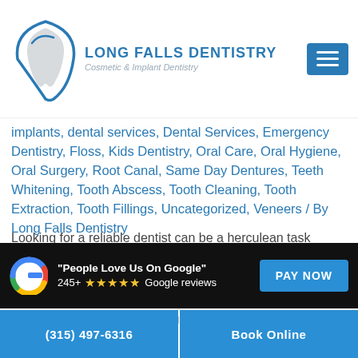[Figure (logo): Long Falls Dentistry logo with tooth graphic and text 'Long Falls Dentistry, Cosmetic & Implant Dentistry']
implants, dental services, Dental Services, Emergency Dentistry, Floss, Kids Dentistry, Oral Care, Oral Hygiene, Oral Surgery, Root Canal, Same Day Dentures, Teeth Whitening, Tooth Abscess, Tooth Cleaning, Tooth Extraction, Tooth Fillings, Uncategorized, Veneers / By Long Falls Dentistry
Looking for a reliable dentist can be a herculean task without proper knowledge. The reason behind it is pretty simple. The last few years have seen a sudden rise in health consciousness among people belonging to almost any age group. This has, in turn, led to an increase in demand for dental clinics and has contributed to
"People Love Us On Google" 245+ ★★★★★ Google reviews | PAY NOW
(315) 497-6316 | Book Online